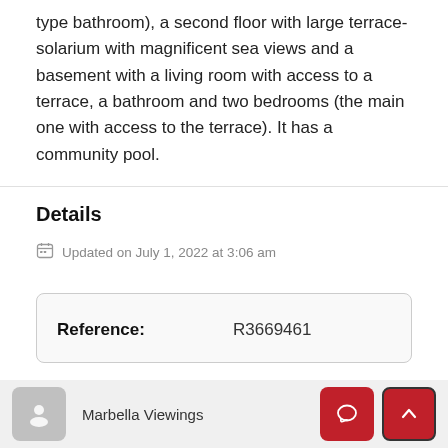type bathroom), a second floor with large terrace-solarium with magnificent sea views and a basement with a living room with access to a terrace, a bathroom and two bedrooms (the main one with access to the terrace). It has a community pool.
Details
Updated on July 1, 2022 at 3:06 am
| Reference: |  |
| --- | --- |
| Reference: | R3669461 |
Marbella Viewings